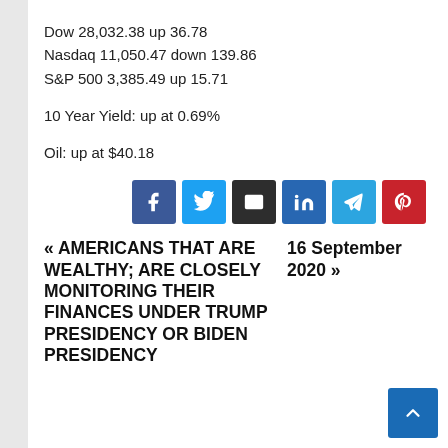Dow 28,032.38 up 36.78
Nasdaq 11,050.47 down 139.86
S&P 500 3,385.49 up 15.71
10 Year Yield: up at 0.69%
Oil: up at $40.18
[Figure (other): Social sharing icons: Facebook, Twitter, Email, LinkedIn, Telegram, Pinterest]
« AMERICANS THAT ARE WEALTHY; ARE CLOSELY MONITORING THEIR FINANCES UNDER TRUMP PRESIDENCY OR BIDEN PRESIDENCY
16 September 2020 »